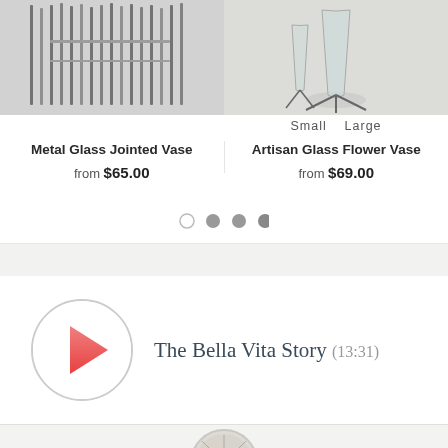[Figure (photo): Product photo of Metal Glass Jointed Vase - dark metal and glass rods arrangement]
[Figure (photo): Product photo of Artisan Glass Flower Vase - clear glass vase with thin metal legs, shown in Small and Large sizes]
Small    Large
Metal Glass Jointed Vase
from $65.00
Artisan Glass Flower Vase
from $69.00
[Figure (infographic): Carousel pagination dots: one empty circle and three filled grey circles]
[Figure (illustration): Circular play button with pink/red triangle arrow]
The Bella Vita Story (13:31)
[Figure (illustration): Circular icon partially visible at bottom of page]